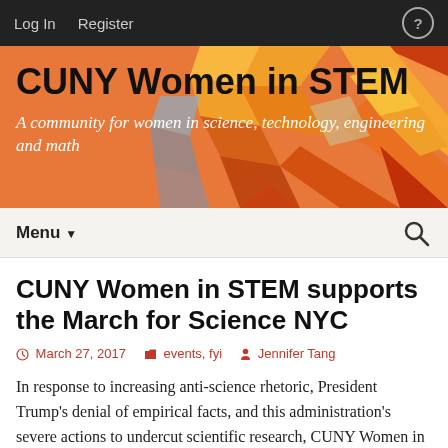Log In   Register
[Figure (screenshot): CUNY Women in STEM website banner with geometric hexagonal pattern in orange, red, yellow, blue and grey tones]
CUNY Women in STEM
A community for women in science, technology, engineering and math
Menu
CUNY Women in STEM supports the March for Science NYC
March 27, 2017   events, fyi   Jennifer Tang
In response to increasing anti-science rhetoric, President Trump's denial of empirical facts, and this administration's severe actions to undercut scientific research, CUNY Women in STEM endorses the March for Science NYC.